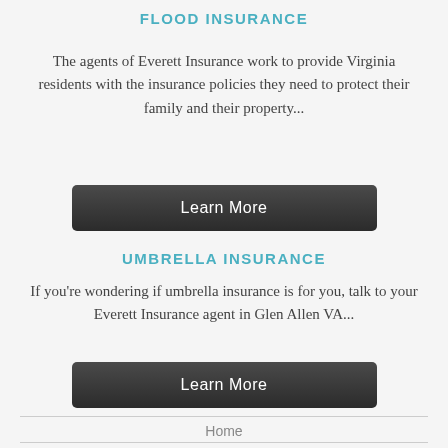FLOOD INSURANCE
The agents of Everett Insurance work to provide Virginia residents with the insurance policies they need to protect their family and their property...
[Figure (other): Dark button labeled 'Learn More']
UMBRELLA INSURANCE
If you're wondering if umbrella insurance is for you, talk to your Everett Insurance agent in Glen Allen VA...
[Figure (other): Dark button labeled 'Learn More']
Home